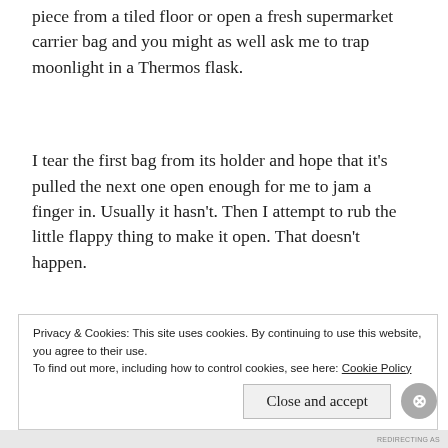piece from a tiled floor or open a fresh supermarket carrier bag and you might as well ask me to trap moonlight in a Thermos flask.
I tear the first bag from its holder and hope that it's pulled the next one open enough for me to jam a finger in. Usually it hasn't. Then I attempt to rub the little flappy thing to make it open. That doesn't happen.
Privacy & Cookies: This site uses cookies. By continuing to use this website, you agree to their use.
To find out more, including how to control cookies, see here: Cookie Policy
REDIRECTING AS